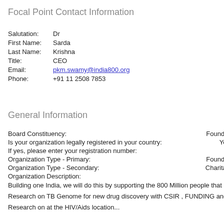Focal Point Contact Information
Altern
Salutation: Dr
Salutati
First Name: Sarda
First Na
Last Name: Krishna
Last Na
Title: CEO
Title:
Email: pkm.swamy@india800.org
Email:
Phone: +91 11 2508 7853
Phone:
General Information
Board Constituency:
Foundat
Is your organization legally registered in your country:
Yes
If yes, please enter your registration number:
Organization Type - Primary:
Foundat
Organization Type - Secondary:
Charitab
Organization Description:
Building one India, we will do this by supporting the 800 Million people that live belo causes to root causes, driven by Science & technology and social Innovation.
Research on TB Genome for new drug discovery with CSIR , FUNDING and suppo NGOs partners –SSDC ( WB), TB ALERT INDIA, (DELHI), CCF Delhi , FPH (MUMB
Research on at the HIV/Aids location...